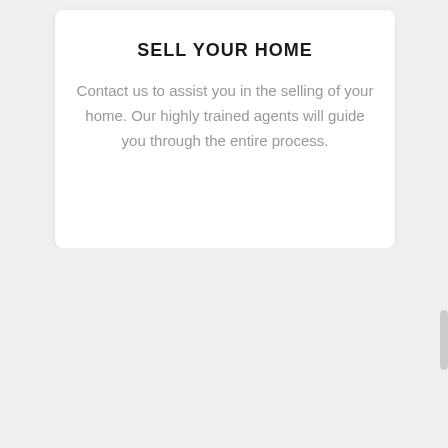SELL YOUR HOME
Contact us to assist you in the selling of your home. Our highly trained agents will guide you through the entire process.